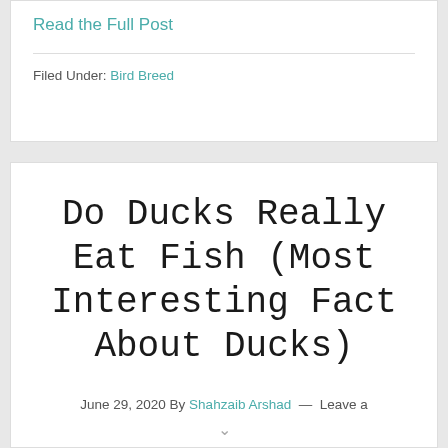Read the Full Post
Filed Under: Bird Breed
Do Ducks Really Eat Fish (Most Interesting Fact About Ducks)
June 29, 2020 By Shahzaib Arshad — Leave a